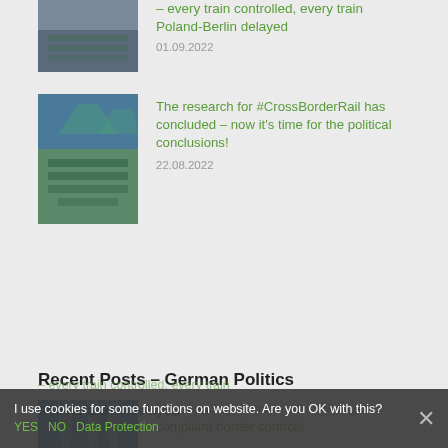[Figure (photo): Partial aerial photo of train border area at the top]
– every train controlled, every train Poland-Berlin delayed
01.09.2022
[Figure (photo): Aerial photo of train yard with green trains in mountainous area]
The research for #CrossBorderRail has concluded – now it's time for the political conclusions!
22.08.2022
Recent Posts – German Politics
[Figure (photo): Power line towers against blue sky]
Illegal and systematic non-Schengen compliant border controls – every train controlled, every train Poland-Berlin delayed
I use cookies for some functions on website. Are you OK with this? YES  NO  Data Protection